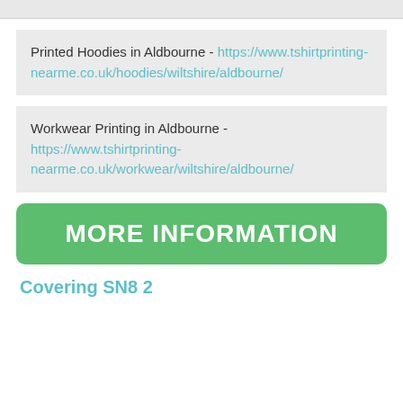Printed Hoodies in Aldbourne - https://www.tshirtprinting-nearme.co.uk/hoodies/wiltshire/aldbourne/
Workwear Printing in Aldbourne - https://www.tshirtprinting-nearme.co.uk/workwear/wiltshire/aldbourne/
MORE INFORMATION
Covering SN8 2